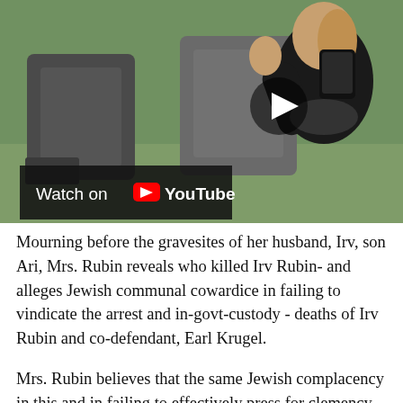[Figure (screenshot): Video thumbnail showing a woman in black clothing at a cemetery with gravesites/headstones in the background. A large play button is visible. A 'Watch on YouTube' overlay bar appears at the bottom left of the video.]
Mourning before the gravesites of her husband, Irv, son Ari, Mrs. Rubin reveals who killed Irv Rubin- and alleges Jewish communal cowardice in failing to vindicate the arrest and in-govt-custody - deaths of Irv Rubin and co-defendant, Earl Krugel.
Mrs. Rubin believes that the same Jewish complacency in this and in failing to effectively press for clemency to the over-sentenced Jonathan Pollard fails to deter further persecution of Jews, signaling that Jews are further easy targets for relativizing government officials's sucking-up to Arab-money-influenced government tolerance of Islamist supremacism in Western